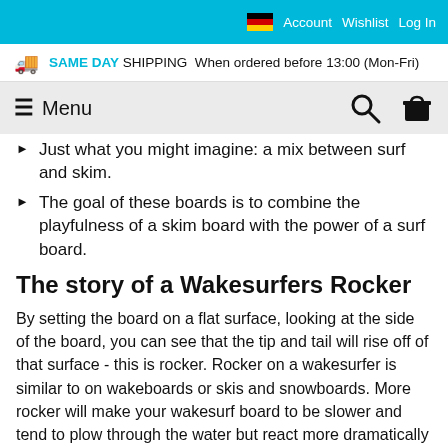Account  Wishlist  Log In
SAME DAY SHIPPING When ordered before 13:00 (Mon-Fri)
≡ Menu
Just what you might imagine: a mix between surf and skim.
The goal of these boards is to combine the playfulness of a skim board with the power of a surf board.
The story of a Wakesurfers Rocker
By setting the board on a flat surface, looking at the side of the board, you can see that the tip and tail will rise off of that surface - this is rocker. Rocker on a wakesurfer is similar to on wakeboards or skis and snowboards. More rocker will make your wakesurf board to be slower and tend to plow through the water but react more dramatically with the wave. Less rocker makes the board faster on the wake and give you a smoother feel.